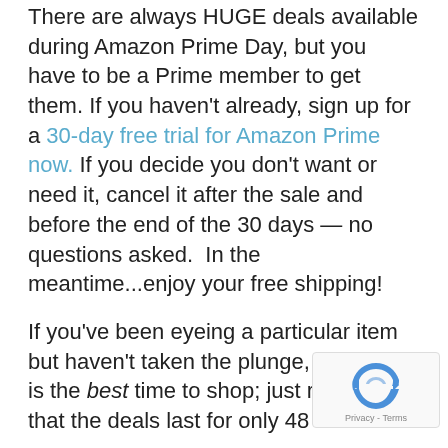There are always HUGE deals available during Amazon Prime Day, but you have to be a Prime member to get them. If you haven't already, sign up for a 30-day free trial for Amazon Prime now. If you decide you don't want or need it, cancel it after the sale and before the end of the 30 days — no questions asked.  In the meantime...enjoy your free shipping!
If you've been eyeing a particular item but haven't taken the plunge, Prime Day is the best time to shop; just remember that the deals last for only 48 hours.
You don't have to fill your cart before you order. You can order as you go along, but